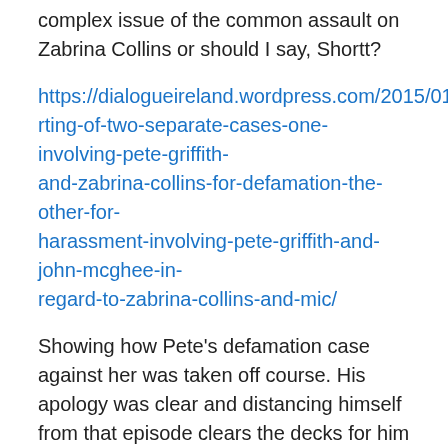complex issue of the common assault on Zabrina Collins or should I say, Shortt?
https://dialogueireland.wordpress.com/2015/01/16/misreporting-of-two-separate-cases-one-involving-pete-griffith-and-zabrina-collins-for-defamation-the-other-for-harassment-involving-pete-griffith-and-john-mcghee-in-regard-to-zabrina-collins-and-mic/
Showing how Pete's defamation case against her was taken off course. His apology was clear and distancing himself from that episode clears the decks for him to engage with Scientologists. It also shows humility and a willingness to show vulnerability. Unfortunately, the S.O seem unable to engage beyond attack as my expulsion from their restaurant showed.
You can see our coverage of Scientology here: